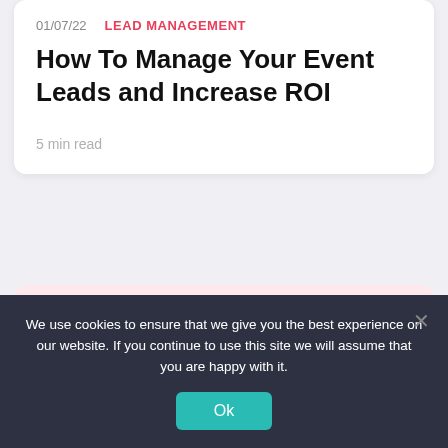01/07/22   LEAD MANAGEMENT
How To Manage Your Event Leads and Increase ROI
5 min read
[Figure (illustration): Pink background card with illustrated figures of people working at large monitor screens displaying charts and document interfaces]
We use cookies to ensure that we give you the best experience on our website. If you continue to use this site we will assume that you are happy with it.